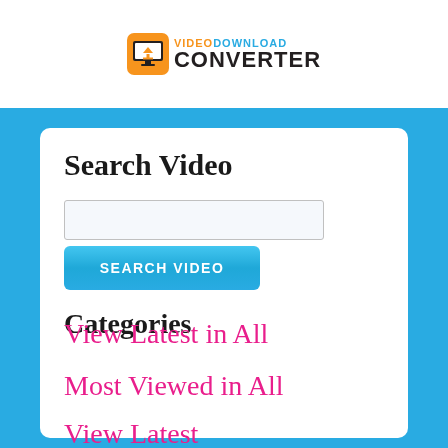[Figure (logo): Video Download Converter logo with orange icon and black text]
Search Video
[Figure (screenshot): Search input text field]
[Figure (screenshot): SEARCH VIDEO button in blue]
Categories
View Latest in All
Most Viewed in All
View Latest
Other C...